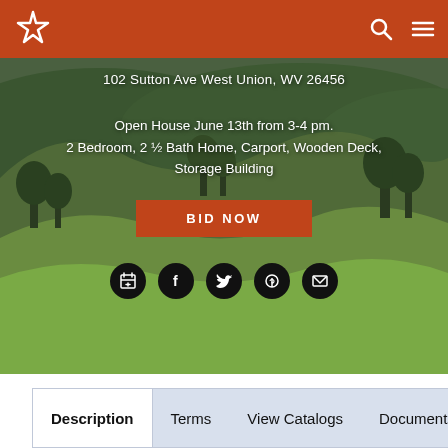Navigation header with logo, search and menu icons
[Figure (photo): Rolling green hills and farmland landscape used as hero background image]
102 Sutton Ave West Union, WV 26456
Open House June 13th from 3-4 pm. 2 Bedroom, 2 ½ Bath Home, Carport, Wooden Deck, Storage Building
BID NOW
[Figure (infographic): Row of five social sharing icons: calendar, Facebook, Twitter, Pinterest, email]
Description
Terms
View Catalogs
Documents